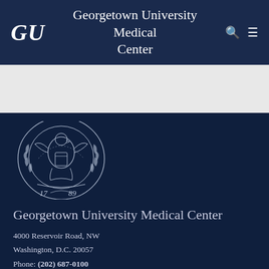GU  Georgetown University Medical Center
[Figure (logo): Georgetown University seal with eagle and wreath, dated 1789]
Georgetown University Medical Center
4000 Reservoir Road, NW
Washington, D.C. 20057
Phone: (202) 687-0100
Email: gumccomm@georgetown.edu